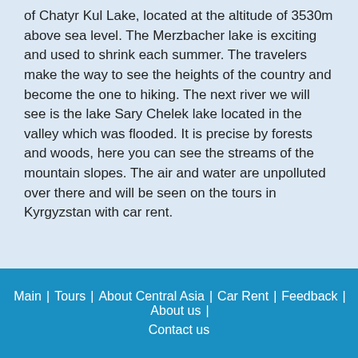of Chatyr Kul Lake, located at the altitude of 3530m above sea level. The Merzbacher lake is exciting and used to shrink each summer. The travelers make the way to see the heights of the country and become the one to hiking. The next river we will see is the lake Sary Chelek lake located in the valley which was flooded. It is precise by forests and woods, here you can see the streams of the mountain slopes. The air and water are unpolluted over there and will be seen on the tours in Kyrgyzstan with car rent.
Main | Tours | About Central Asia | Car Rent | Feedback | About us | Contact us